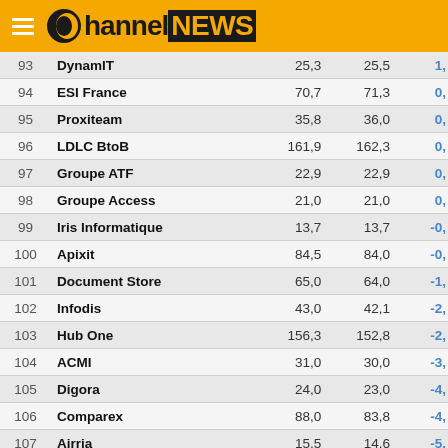ChannelNEWS
| # | Name | Val1 | Val2 | % |
| --- | --- | --- | --- | --- |
| 93 | DynamIT | 25,3 | 25,5 | 1, |
| 94 | ESI France | 70,7 | 71,3 | 0, |
| 95 | Proxiteam | 35,8 | 36,0 | 0, |
| 96 | LDLC BtoB | 161,9 | 162,3 | 0, |
| 97 | Groupe ATF | 22,9 | 22,9 | 0, |
| 98 | Groupe Access | 21,0 | 21,0 | 0, |
| 99 | Iris Informatique | 13,7 | 13,7 | -0, |
| 100 | Apixit | 84,5 | 84,0 | -0, |
| 101 | Document Store | 65,0 | 64,0 | -1, |
| 102 | Infodis | 43,0 | 42,1 | -2, |
| 103 | Hub One | 156,3 | 152,8 | -2, |
| 104 | ACMI | 31,0 | 30,0 | -3, |
| 105 | Digora | 24,0 | 23,0 | -4, |
| 106 | Comparex | 88,0 | 83,8 | -4, |
| 107 | Airria | 15,5 | 14,6 | -5, |
| 108 | Ricoh France | 456,5 | 430,8 | -5, |
| 109 | Mismo Informatique | 21,4 | 20,1 | -6, |